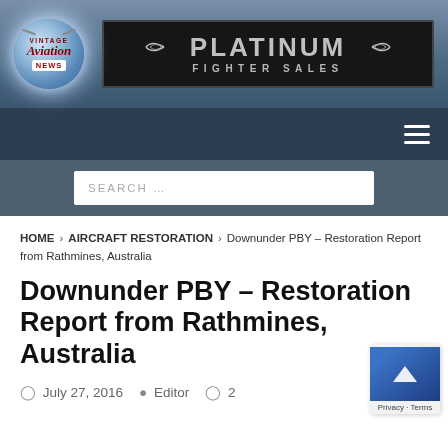[Figure (logo): Vintage Aviation News circular logo with glowing effect on left, and Platinum Fighter Sales banner advertisement on right, both on a blue-grey gradient background]
Navigation bar with hamburger menu icon
Search ...
HOME > AIRCRAFT RESTORATION > Downunder PBY – Restoration Report from Rathmines, Australia
Downunder PBY – Restoration Report from Rathmines, Australia
July 27, 2016  Editor  2